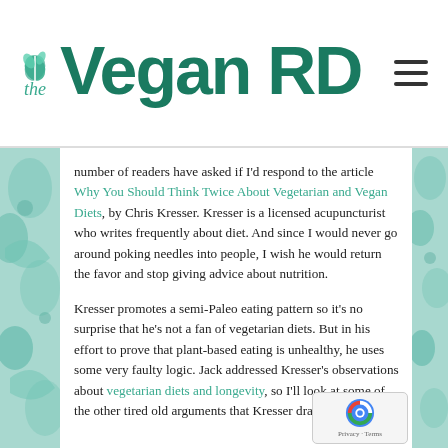the Vegan RD
number of readers have asked if I'd respond to the article Why You Should Think Twice About Vegetarian and Vegan Diets, by Chris Kresser. Kresser is a licensed acupuncturist who writes frequently about diet. And since I would never go around poking needles into people, I wish he would return the favor and stop giving advice about nutrition.
Kresser promotes a semi-Paleo eating pattern so it's no surprise that he's not a fan of vegetarian diets. But in his effort to prove that plant-based eating is unhealthy, he uses some very faulty logic. Jack addressed Kresser's observations about vegetarian diets and longevity, so I'll look at some of the other tired old arguments that Kresser drags out to